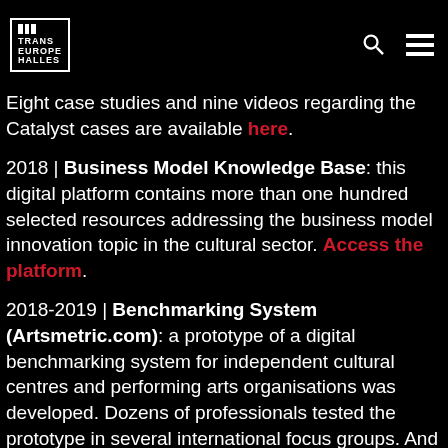Trans Europe Halles
Eight case studies and nine videos regarding the Catalyst cases are available here.
2018 | Business Model Knowledge Base: this digital platform contains more than one hundred selected resources addressing the business model innovation topic in the cultural sector. Access the platform.
2018-2019 | Benchmarking System (Artsmetric.com): a prototype of a digital benchmarking system for independent cultural centres and performing arts organisations was developed. Dozens of professionals tested the prototype in several international focus groups. And with their feedback, the platform will be further developed by Trans Europe Halles and Creative